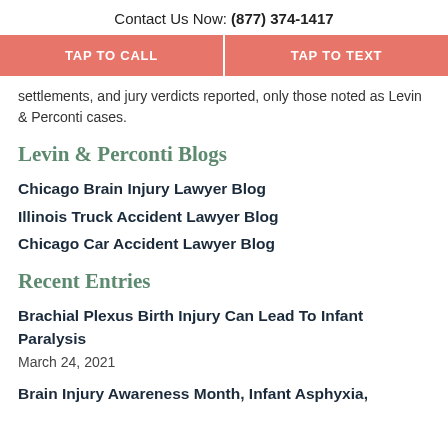Contact Us Now: (877) 374-1417
TAP TO CALL | TAP TO TEXT
settlements, and jury verdicts reported, only those noted as Levin & Perconti cases.
Levin & Perconti Blogs
Chicago Brain Injury Lawyer Blog
Illinois Truck Accident Lawyer Blog
Chicago Car Accident Lawyer Blog
Recent Entries
Brachial Plexus Birth Injury Can Lead To Infant Paralysis
March 24, 2021
Brain Injury Awareness Month, Infant Asphyxia,